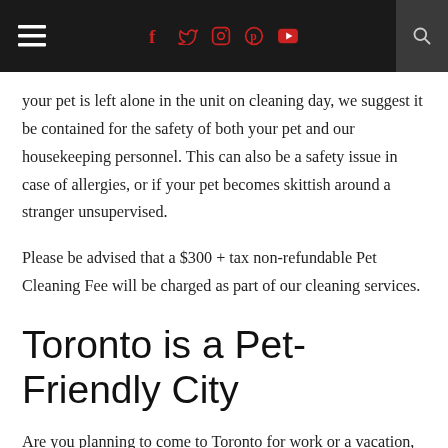≡  f  🐦  ⊙  ⓟ  ▶  🔍
your pet is left alone in the unit on cleaning day, we suggest it be contained for the safety of both your pet and our housekeeping personnel. This can also be a safety issue in case of allergies, or if your pet becomes skittish around a stranger unsupervised.
Please be advised that a $300 + tax non-refundable Pet Cleaning Fee will be charged as part of our cleaning services.
Toronto is a Pet-Friendly City
Are you planning to come to Toronto for work or a vacation, then you'll want to know that